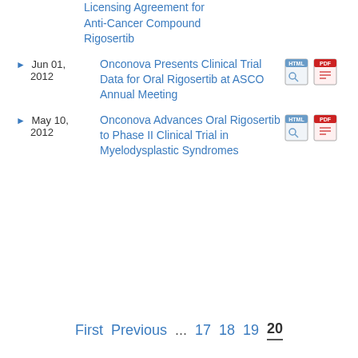Licensing Agreement for Anti-Cancer Compound Rigosertib
Jun 01, 2012 — Onconova Presents Clinical Trial Data for Oral Rigosertib at ASCO Annual Meeting
May 10, 2012 — Onconova Advances Oral Rigosertib to Phase II Clinical Trial in Myelodysplastic Syndromes
First  Previous  ...  17  18  19  20